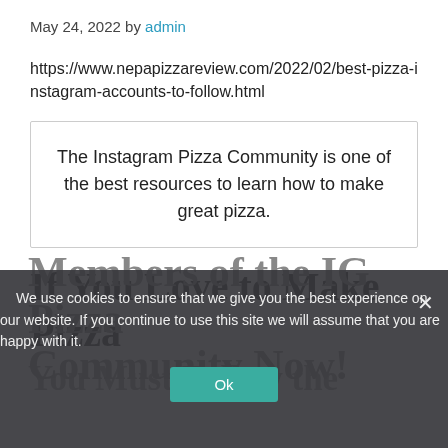May 24, 2022 by admin
https://www.nepapizzareview.com/2022/02/best-pizza-instagram-accounts-to-follow.html
The Instagram Pizza Community is one of the best resources to learn how to make great pizza.
If You Love to Make Pizza
We use cookies to ensure that we give you the best experience on our website. If you continue to use this site we will assume that you are happy with it.
Ok